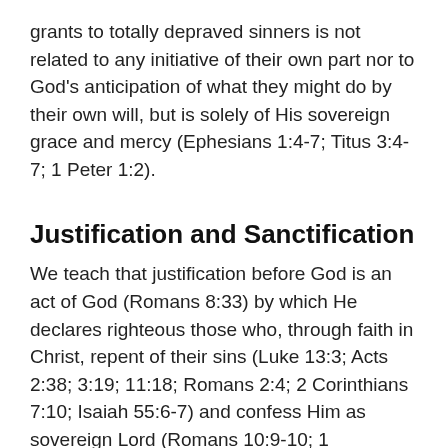grants to totally depraved sinners is not related to any initiative of their own part nor to God's anticipation of what they might do by their own will, but is solely of His sovereign grace and mercy (Ephesians 1:4-7; Titus 3:4-7; 1 Peter 1:2).
Justification and Sanctification
We teach that justification before God is an act of God (Romans 8:33) by which He declares righteous those who, through faith in Christ, repent of their sins (Luke 13:3; Acts 2:38; 3:19; 11:18; Romans 2:4; 2 Corinthians 7:10; Isaiah 55:6-7) and confess Him as sovereign Lord (Romans 10:9-10; 1 Corinthians 12:3; 2 Corinthians 4:5; Philippians 2:11). This righteousness is apart from any virtue or work